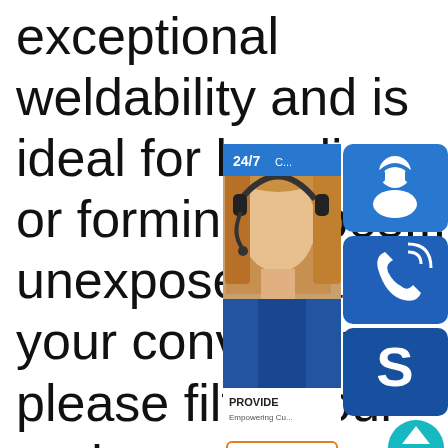exceptional weldability and is ideal for bending or forming expos... unexposed parts... your convenience please filter your project specifications by length, weight, or thickness. Our selection of 1008 cold rolled steel also includes ASTM and
[Figure (screenshot): Customer service overlay widget showing a 24/7 support banner, a photo of a female customer service representative with headset, three blue icon buttons (person/headset icon, phone icon, Skype S icon), a PROVIDE Empowering Customers text block, an orange-bordered 'online live' button, and a teal circular scroll-up arrow button.]